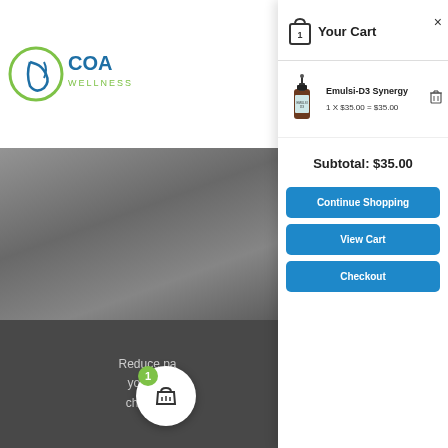[Figure (screenshot): Logo area showing partial 'Coa' and 'Wellness' text with a circular S-shaped icon]
[Figure (photo): Background photo of chiropractic hands on a patient, darkened overlay]
Reduce pa... your bo... chiropra...
Your Cart
[Figure (photo): Product image: Emulsi-D3 Synergy supplement bottle with dropper]
Emulsi-D3 Synergy
1 X $35.00 = $35.00
Subtotal: $35.00
Continue Shopping
View Cart
Checkout